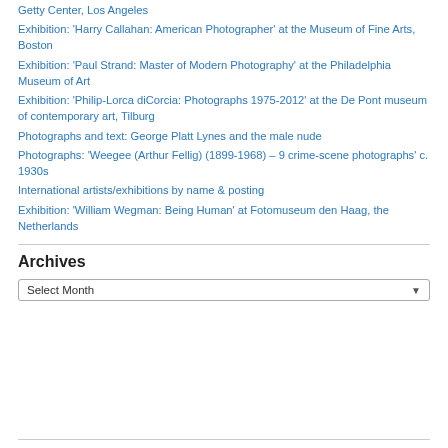Getty Center, Los Angeles
Exhibition: 'Harry Callahan: American Photographer' at the Museum of Fine Arts, Boston
Exhibition: 'Paul Strand: Master of Modern Photography' at the Philadelphia Museum of Art
Exhibition: 'Philip-Lorca diCorcia: Photographs 1975-2012' at the De Pont museum of contemporary art, Tilburg
Photographs and text: George Platt Lynes and the male nude
Photographs: 'Weegee (Arthur Fellig) (1899-1968) – 9 crime-scene photographs' c. 1930s
International artists/exhibitions by name & posting
Exhibition: 'William Wegman: Being Human' at Fotomuseum den Haag, the Netherlands
Archives
Select Month